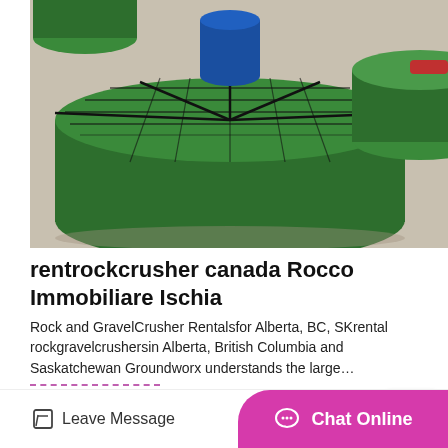[Figure (photo): Industrial green circular rock crusher machinery with grated top surface and blue motor/shaft assembly, photographed from above at slight angle. Multiple green cylindrical crusher units visible.]
rentrockcrusher canada Rocco Immobiliare Ischia
Rock and GravelCrusher Rentalsfor Alberta, BC, SKrental rockgravelcrushersin Alberta, British Columbia and Saskatchewan Groundworx understands the large…
Leave Message  Chat Online